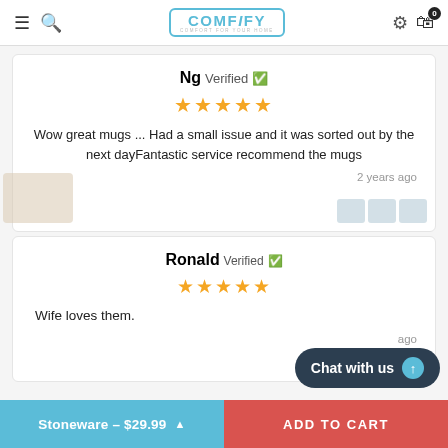COMFIFY - COMFORT FOR YOUR HOME
Ng Verified ✓
★★★★★
Wow great mugs ... Had a small issue and it was sorted out by the next dayFantastic service recommend the mugs
2 years ago
Ronald Verified ✓
★★★★★
Wife loves them.
ago
Chat with us
Stoneware - $29.99
ADD TO CART